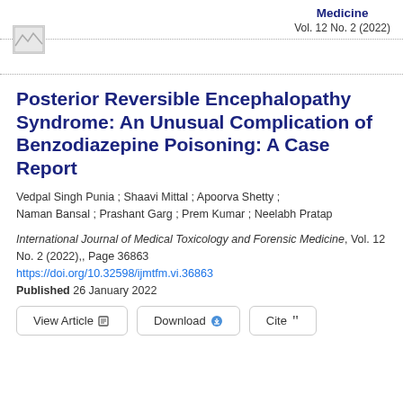Medicine Vol. 12 No. 2 (2022)
[Figure (logo): Journal logo placeholder image]
Posterior Reversible Encephalopathy Syndrome: An Unusual Complication of Benzodiazepine Poisoning: A Case Report
Vedpal Singh Punia ; Shaavi Mittal ; Apoorva Shetty ; Naman Bansal ; Prashant Garg ; Prem Kumar ; Neelabh Pratap
International Journal of Medical Toxicology and Forensic Medicine, Vol. 12 No. 2 (2022),, Page 36863
https://doi.org/10.32598/ijmtfm.vi.36863
Published 26 January 2022
View Article   Download   Cite